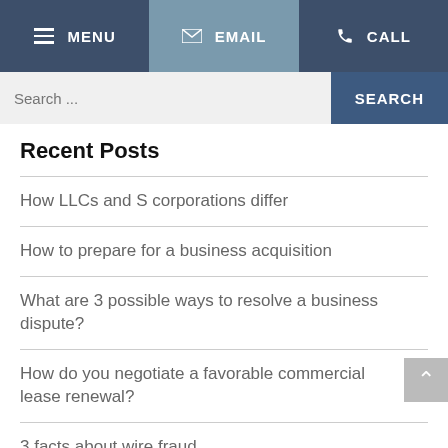MENU | EMAIL | CALL
Search ...
Recent Posts
How LLCs and S corporations differ
How to prepare for a business acquisition
What are 3 possible ways to resolve a business dispute?
How do you negotiate a favorable commercial lease renewal?
3 facts about wire fraud
Archives